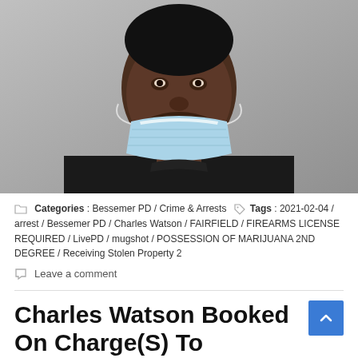[Figure (photo): Mugshot photo of a Black male wearing a black t-shirt and a light blue surgical face mask pulled down below his chin. Gray background, cropped from chest up, face visible above mask.]
Categories : Bessemer PD / Crime & Arrests  Tags : 2021-02-04 / arrest / Bessemer PD / Charles Watson / FAIRFIELD / FIREARMS LICENSE REQUIRED / LivePD / mugshot / POSSESSION OF MARIJUANA 2ND DEGREE / Receiving Stolen Property 2
Leave a comment
Charles Watson Booked On Charge(S) To Include: FIREARMS